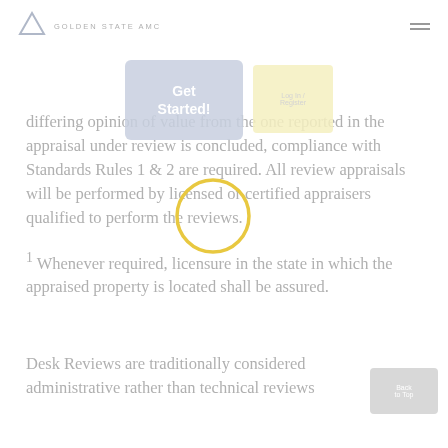GOLDEN STATE AMC
differing opinion of value from the one reported in the appraisal under review is concluded, compliance with Standards Rules 1 & 2 are required. All review appraisals will be performed by licensed or certified appraisers qualified to perform the reviews.
¹ Whenever required, licensure in the state in which the appraised property is located shall be assured.
Desk Reviews are traditionally considered administrative rather than technical reviews